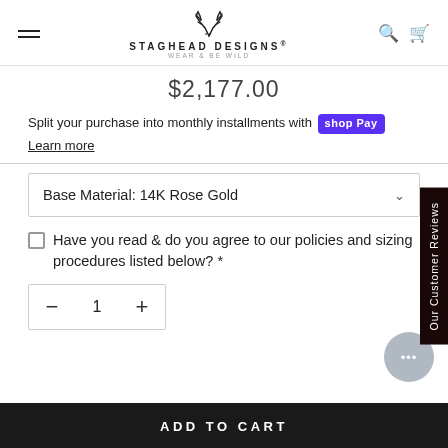Staghead Designs — Wear & Be Wild
$2,177.00
Split your purchase into monthly installments with Shop Pay
Learn more
Base Material: 14K Rose Gold
Have you read & do you agree to our policies and sizing procedures listed below? *
1
ADD TO CART